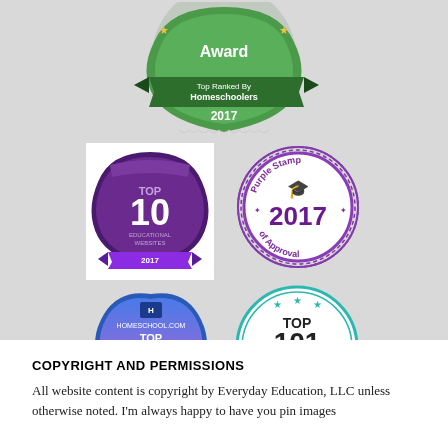[Figure (illustration): Award badge - Top Ranked By Homeschoolers 2017 (green ribbon badge at top)]
[Figure (illustration): Top 10 Educational Websites 2017 (purple badge, left)]
[Figure (illustration): Purple Stamp of Approval 2017 (circular purple stamp, right)]
[Figure (illustration): Homeschool.com Top 100 Educational Websites 2016 (blue heart-shaped badge, left)]
[Figure (illustration): Top 101 Educational Websites & Apps 2016 (teal/orange circular badge, right)]
COPYRIGHT AND PERMISSIONS
All website content is copyright by Everyday Education, LLC unless otherwise noted. I'm always happy to have you pin images